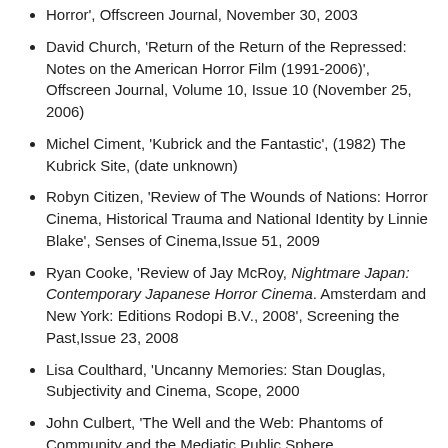Horror', Offscreen Journal, November 30, 2003
David Church, 'Return of the Return of the Repressed: Notes on the American Horror Film (1991-2006)', Offscreen Journal, Volume 10, Issue 10 (November 25, 2006)
Michel Ciment, 'Kubrick and the Fantastic', (1982) The Kubrick Site, (date unknown)
Robyn Citizen, 'Review of The Wounds of Nations: Horror Cinema, Historical Trauma and National Identity by Linnie Blake', Senses of Cinema,Issue 51, 2009
Ryan Cooke, 'Review of Jay McRoy, Nightmare Japan: Contemporary Japanese Horror Cinema. Amsterdam and New York: Editions Rodopi B.V., 2008', Screening the Past,Issue 23, 2008
Lisa Coulthard, 'Uncanny Memories: Stan Douglas, Subjectivity and Cinema, Scope, 2000
John Culbert, 'The Well and the Web: Phantoms of Community and the Mediatic Public Sphere…